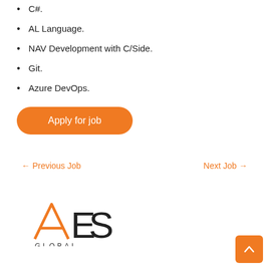C#.
AL Language.
NAV Development with C/Side.
Git.
Azure DevOps.
Apply for job
← Previous Job   Next Job →
[Figure (logo): AES Global logo with orange triangle A and dark ES letters, GLOBAL text below]